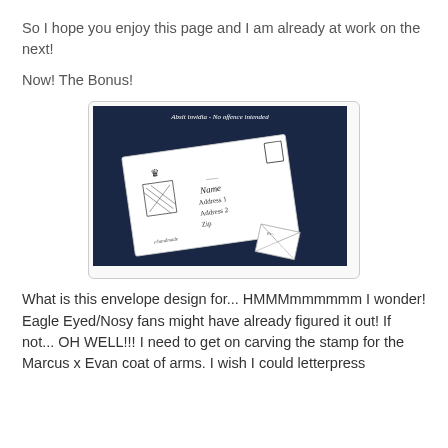So I hope you enjoy this page and I am already at work on the next!
Now! The Bonus!
[Figure (illustration): Illustration of an envelope with a coat of arms on the left side, handwritten address fields (Name, Address 1, Address 2, Zip), and a small envelope in the bottom right corner, on a dark navy background. Title reads: 'Absit invidia - No offence intended']
What is this envelope design for... HMMMmmmmmm I wonder! Eagle Eyed/Nosy fans might have already figured it out! If not... OH WELL!!! I need to get on carving the stamp for the Marcus x Evan coat of arms. I wish I could letterpress